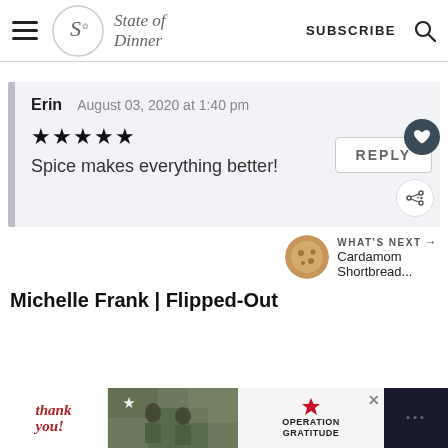State of Dinner — SUBSCRIBE
Erin   August 03, 2020 at 1:40 pm
★★★★★
Spice makes everything better!
REPLY
WHAT'S NEXT → Cardamom Shortbread...
Michelle Frank | Flipped-Out
[Figure (screenshot): Advertisement banner: Thank you with military Operation Gratitude imagery]